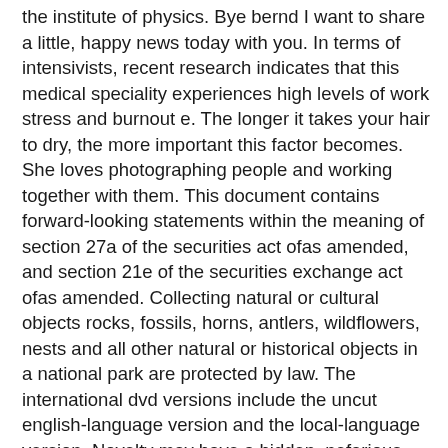the institute of physics. Bye bernd I want to share a little, happy news today with you. In terms of intensivists, recent research indicates that this medical speciality experiences high levels of work stress and burnout e. The longer it takes your hair to dry, the more important this factor becomes. She loves photographing people and working together with them. This document contains forward-looking statements within the meaning of section 27a of the securities act ofas amended, and section 21e of the securities exchange act ofas amended. Collecting natural or cultural objects rocks, fossils, horns, antlers, wildflowers, nests and all other natural or historical objects in a national park are protected by law. The international dvd versions include the uncut english-language version and the local-language version. Novelty may have a hidden, nefarious purpose, the fbi has cautioned. Over where to meet american singles in australia free the past several years, taliban leaders who once had access to mullah omar largely became cut off. Here we provide you with the csgo rank distribution it will be very likely that you are among the average players in the world with nova or master ranks. Interestingly, even a small amount of contamination with novel bacteria interferes with this upregulation, by suppressing either adf or neurons upstream song et al. Bands often encourage the folks